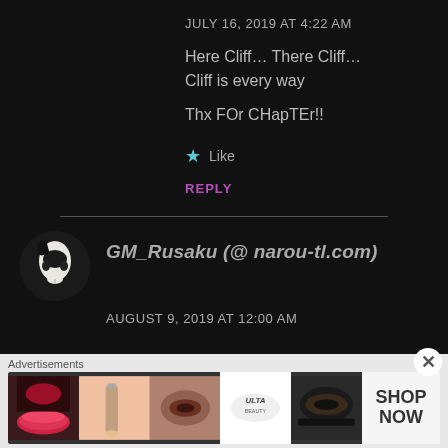JULY 16, 2019 AT 4:22 AM
Here Cliff... There Cliff... Cliff is every way
Thx FOr CHapTEr!!
★ Like
REPLY
GM_Rusaku (@ narou-tl.com)
AUGUST 9, 2019 AT 12:00 AM
Advertisements
[Figure (photo): Beauty/cosmetics advertisement showing close-up images of lips, makeup brushes, eyes, ULTA Beauty logo, and eye makeup, with SHOP NOW text]